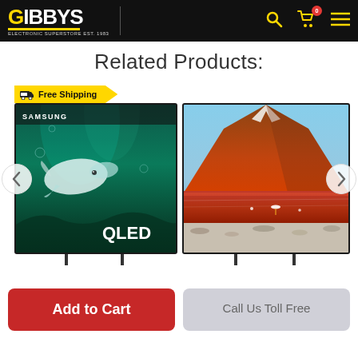[Figure (screenshot): Gibbys electronic superstore website header with logo, search icon, cart icon (0 items), and hamburger menu on black background]
Related Products:
[Figure (photo): Samsung QLED TV product image showing underwater/ocean scene with 'Free Shipping' yellow badge in top-left corner]
[Figure (photo): Samsung TU7 TV product image showing mountain/lake landscape scene with vivid colors]
Add to Cart
Call Us Toll Free